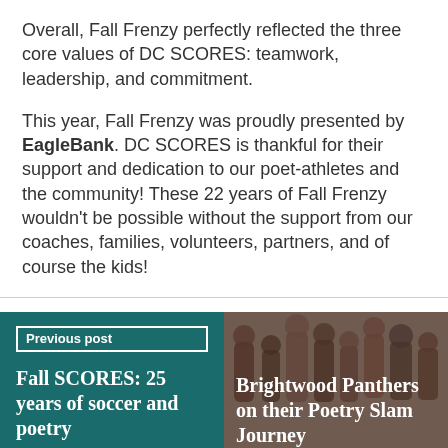Overall, Fall Frenzy perfectly reflected the three core values of DC SCORES: teamwork, leadership, and commitment.
This year, Fall Frenzy was proudly presented by EagleBank. DC SCORES is thankful for their support and dedication to our poet-athletes and the community! These 22 years of Fall Frenzy wouldn't be possible without the support from our coaches, families, volunteers, partners, and of course the kids!
[Figure (other): Previous post card with teal background labeled 'Previous post' with title 'Fall SCORES: 25 years of soccer and poetry']
[Figure (photo): Next post card with photo background showing group of people, with title 'Brightwood Panthers on their Poetry Slam Journey']